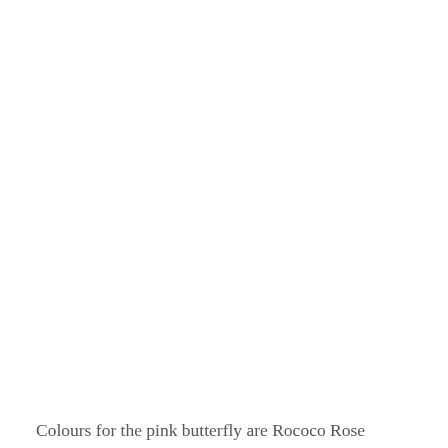Colours for the pink butterfly are Rococo Rose